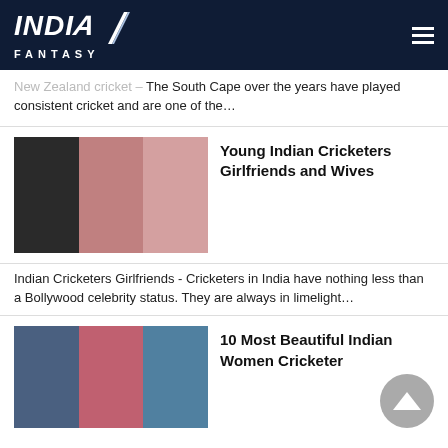INDIA FANTASY
New Zealand cricket – The South Cape over the years have played consistent cricket and are one of the…
[Figure (photo): Collage of young Indian cricketers and their girlfriends/wives — three women photos alongside a cricketer]
Young Indian Cricketers Girlfriends and Wives
Indian Cricketers Girlfriends - Cricketers in India have nothing less than a Bollywood celebrity status. They are always in limelight…
[Figure (photo): Collage of three Indian women cricketers in uniform]
10 Most Beautiful Indian Women Cricketer